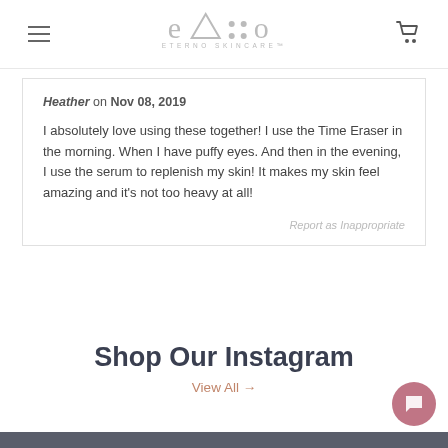ETERNO SKINCARE
Heather on Nov 08, 2019
I absolutely love using these together! I use the Time Eraser in the morning. When I have puffy eyes. And then in the evening, I use the serum to replenish my skin! It makes my skin feel amazing and it’s not too heavy at all!
Report as Inappropriate
Shop Our Instagram
View All →